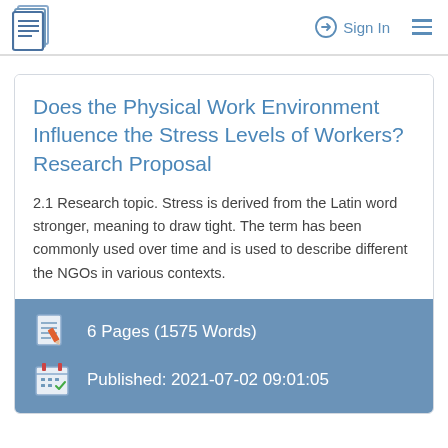Sign In
Does the Physical Work Environment Influence the Stress Levels of Workers? Research Proposal
2.1 Research topic. Stress is derived from the Latin word stronger, meaning to draw tight. The term has been commonly used over time and is used to describe different the NGOs in various contexts.
6 Pages (1575 Words)
Published: 2021-07-02 09:01:05